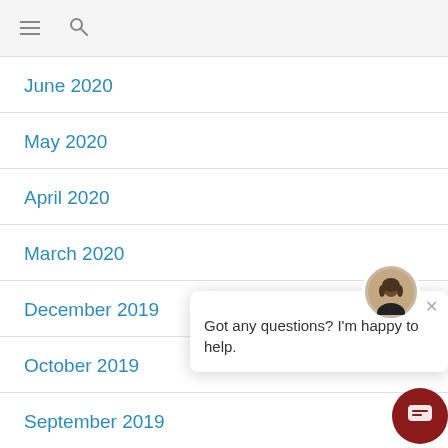≡ 🔍
June 2020
May 2020
April 2020
March 2020
December 2019
October 2019
September 2019
February 2019
[Figure (other): Chat widget popup with avatar photo of a woman and text 'Got any questions? I'm happy to help.' with a close button, and a dark red circular chat button at the bottom right.]